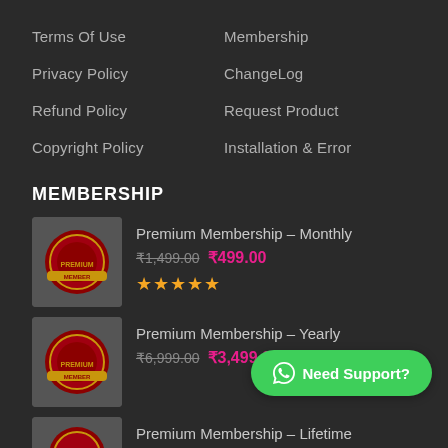Terms Of Use
Membership
Privacy Policy
ChangeLog
Refund Policy
Request Product
Copyright Policy
Installation & Error
MEMBERSHIP
Premium Membership – Monthly ₹1,499.00 ₹499.00
Premium Membership – Yearly ₹6,999.00 ₹3,499.00
Premium Membership – Lifetime
Need Support?